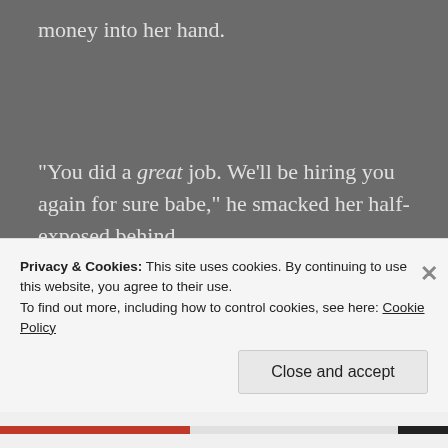money into her hand.
“You did a great job.  We’ll be hiring you again for sure babe,” he smacked her half-exposed behind.
“Thanks,” Cerise replied through gritted teeth, trying to remind herself she was here as a stripper.  She flicked through the money, counting it quickly.  After gathering
Privacy & Cookies: This site uses cookies. By continuing to use this website, you agree to their use.
To find out more, including how to control cookies, see here: Cookie Policy
Close and accept